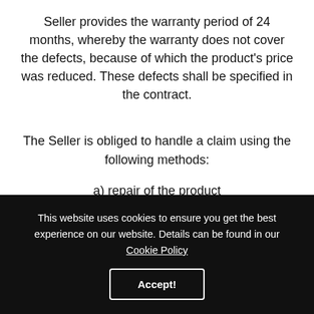Seller provides the warranty period of 24 months, whereby the warranty does not cover the defects, because of which the product's price was reduced. These defects shall be specified in the contract.
The Seller is obliged to handle a claim using the following methods:
a) repair of the product
b) replacement of the product
c) reimbursement of the price
d) rejection of the claim
This website uses cookies to ensure you get the best experience on our website. Details can be found in our Cookie Policy
Accept!